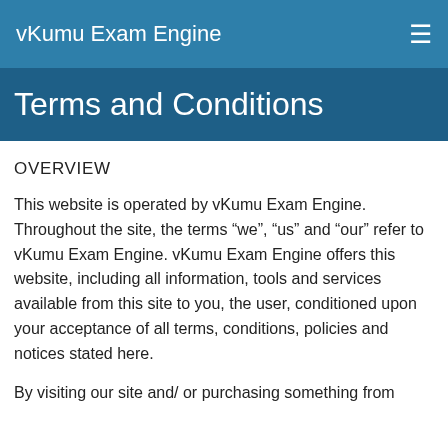vKumu Exam Engine
Terms and Conditions
OVERVIEW
This website is operated by vKumu Exam Engine. Throughout the site, the terms “we”, “us” and “our” refer to vKumu Exam Engine. vKumu Exam Engine offers this website, including all information, tools and services available from this site to you, the user, conditioned upon your acceptance of all terms, conditions, policies and notices stated here.
By visiting our site and/ or purchasing something from